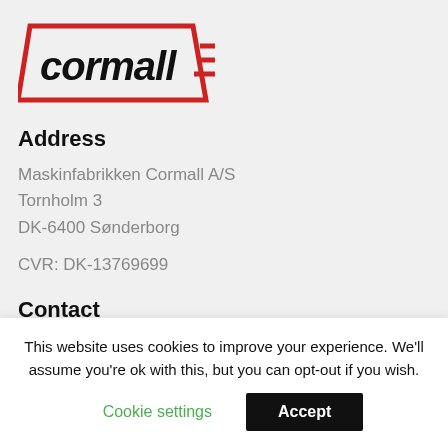[Figure (logo): Cormall company logo with stylized text and red geometric elements]
Address
Maskinfabrikken Cormall A/S
Tornholm 3
DK-6400 Sønderborg
CVR: DK-13769699
Contact
Phone: +45 7448 6111
This website uses cookies to improve your experience. We'll assume you're ok with this, but you can opt-out if you wish.
Cookie settings
Accept